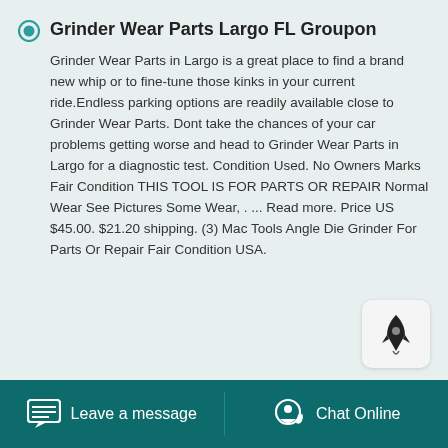Grinder Wear Parts Largo FL Groupon
Grinder Wear Parts in Largo is a great place to find a brand new whip or to fine-tune those kinks in your current ride.Endless parking options are readily available close to Grinder Wear Parts. Dont take the chances of your car problems getting worse and head to Grinder Wear Parts in Largo for a diagnostic test. Condition Used. No Owners Marks Fair Condition THIS TOOL IS FOR PARTS OR REPAIR Normal Wear See Pictures Some Wear, . ... Read more. Price US $45.00. $21.20 shipping. (3) Mac Tools Angle Die Grinder For Parts Or Repair Fair Condition USA.
Leave a message  Chat Online